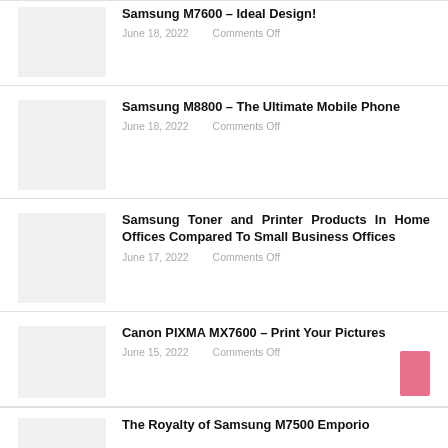Samsung M7600 – Ideal Design! June 18, 2022 Comments Off
Samsung M8800 – The Ultimate Mobile Phone June 18, 2022 Comments Off
Samsung Toner and Printer Products In Home Offices Compared To Small Business Offices June 17, 2022 Comments Off
Canon PIXMA MX7600 – Print Your Pictures June 15, 2022 Comments Off
The Royalty of Samsung M7500 Emporio